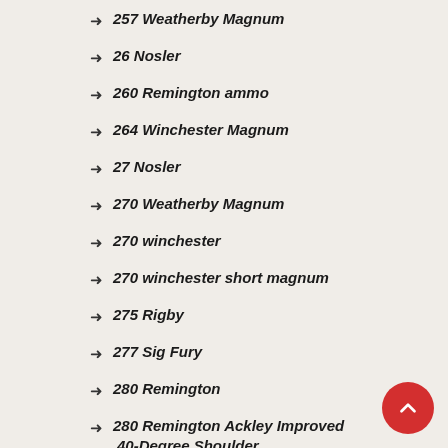257 Weatherby Magnum
26 Nosler
260 Remington ammo
264 Winchester Magnum
27 Nosler
270 Weatherby Magnum
270 winchester
270 winchester short magnum
275 Rigby
277 Sig Fury
280 Remington
280 Remington Ackley Improved 40-Degree Shoulder
284 Winchester